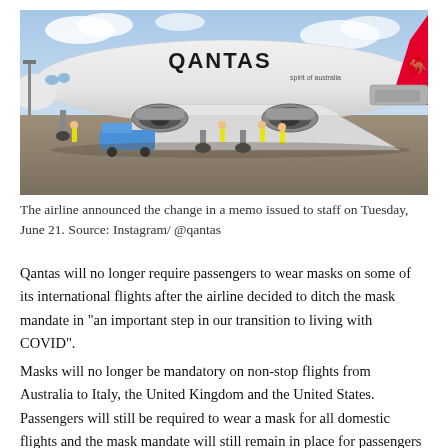[Figure (photo): A large white Qantas Boeing 747 aircraft on a tarmac at an airport. Ground crew in high-visibility vests are working around the aircraft. The Qantas logo and kangaroo tail livery are visible. Sky with clouds in the background.]
The airline announced the change in a memo issued to staff on Tuesday, June 21. Source: Instagram/ @qantas
Qantas will no longer require passengers to wear masks on some of its international flights after the airline decided to ditch the mask mandate in "an important step in our transition to living with COVID".
Masks will no longer be mandatory on non-stop flights from Australia to Italy, the United Kingdom and the United States. Passengers will still be required to wear a mask for all domestic flights and the mask mandate will still remain in place for passengers on all inbound flights